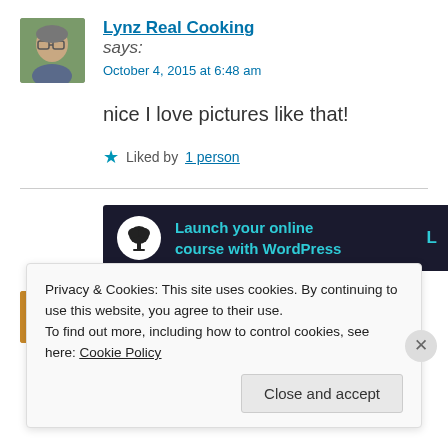[Figure (photo): Avatar photo of commenter Lynz Real Cooking, a person wearing glasses, outdoors]
Lynz Real Cooking says:
October 4, 2015 at 6:48 am
nice I love pictures like that!
Liked by 1 person
[Figure (infographic): WordPress advertisement banner: Launch your online course with WordPress, dark background with teal text and bonsai tree icon]
[Figure (photo): Avatar photo of next commenter]
roughrighting says:
Privacy & Cookies: This site uses cookies. By continuing to use this website, you agree to their use.
To find out more, including how to control cookies, see here: Cookie Policy
Close and accept